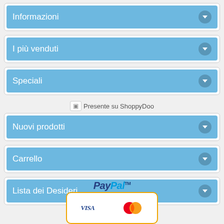Informazioni
I più venduti
Speciali
[Figure (screenshot): Presente su ShoppyDoo badge/logo image with text]
Nuovi prodotti
Carrello
Lista dei Desideri
[Figure (logo): PayPal logo with credit card icons (VISA and Mastercard) in an orange-bordered box]